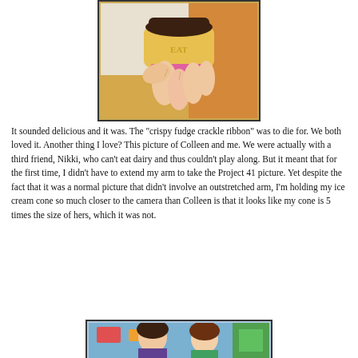[Figure (photo): A hand holding a small ice cream cone with chocolate topping, a yellow wafer cup with EAT embossed, and pink accents visible.]
It sounded delicious and it was.  The "crispy fudge crackle ribbon" was to die for.  We both loved it.  Another thing I love?  This picture of Colleen and me.  We were actually with a third friend, Nikki, who can't eat dairy and thus couldn't play along.  But it meant that for the first time, I didn't have to extend my arm to take the Project 41 picture.  Yet despite the fact that it was a normal picture that didn't involve an outstretched arm, I'm holding my ice cream cone so much closer to the camera than Colleen is that it looks like my cone is 5 times the size of hers, which it was not.
[Figure (photo): Two people posing together, visible from the waist up, colorful background with decorations.]